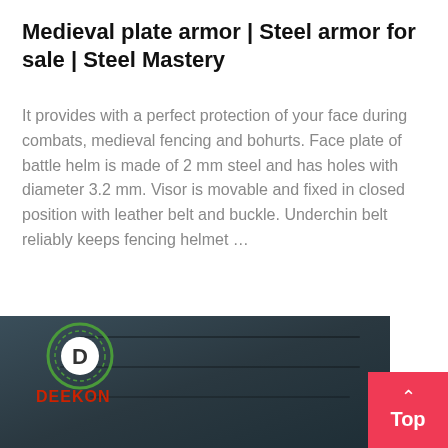Medieval plate armor | Steel armor for sale | Steel Mastery
It provides with a perfect protection of your face during combats, medieval fencing and bohurts. Face plate of battle helm is made of 2 mm steel and has holes with diameter 3.2 mm. Visor is movable and fixed in closed position with leather belt and buckle. Underchin belt reliably keeps fencing helmet …
[Figure (photo): Bottom portion of page showing a dark fabric/armor product image with a DEEKON brand logo (circular emblem with 'D' and green ring outline, red DEEKON text below), and a pink/red 'Top' button with an upward caret arrow in the bottom right corner.]